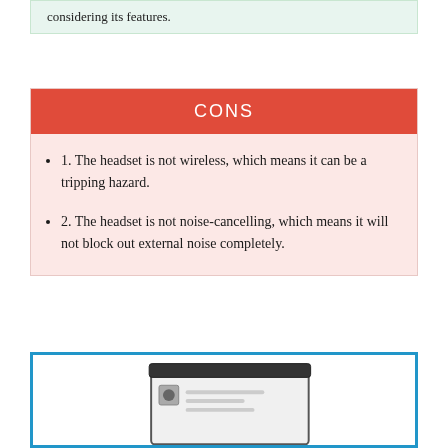considering its features.
CONS
1. The headset is not wireless, which means it can be a tripping hazard.
2. The headset is not noise-cancelling, which means it will not block out external noise completely.
[Figure (photo): Photo of an electronic device (appears to be a router or similar device) shown inside a blue-bordered box at the bottom of the page.]